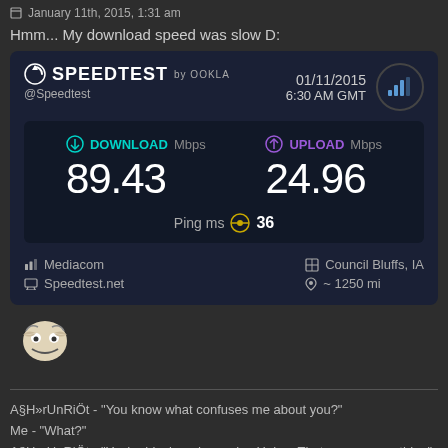January 11th, 2015, 1:31 am
Hmm... My download speed was slow D:
[Figure (screenshot): Speedtest by Ookla result showing Download 89.43 Mbps, Upload 24.96 Mbps, Ping 36 ms, dated 01/11/2015 6:30 AM GMT, ISP: Mediacom, Location: Council Bluffs, IA, ~1250 mi]
[Figure (illustration): Troll face meme image]
A§H»rUnRiÖt - "You know what confuses me about you?"
Me - "What?"
A§H»rUnRiÖt - "You're black and you play Halo... Thats a very rare thing"
Me - "I'm not black"
Mandalor
Registered User